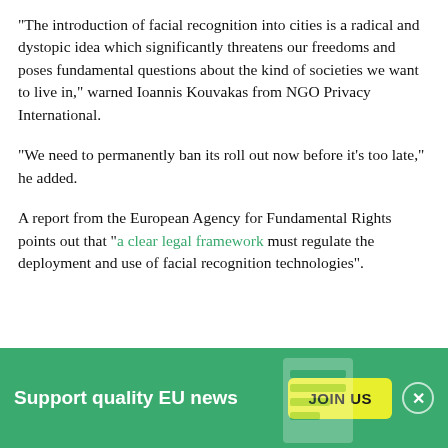"The introduction of facial recognition into cities is a radical and dystopic idea which significantly threatens our freedoms and poses fundamental questions about the kind of societies we want to live in," warned Ioannis Kouvakas from NGO Privacy International.
"We need to permanently ban its roll out now before it's too late," he added.
A report from the European Agency for Fundamental Rights points out that "a clear legal framework must regulate the deployment and use of facial recognition technologies".
Support quality EU news  JOIN US